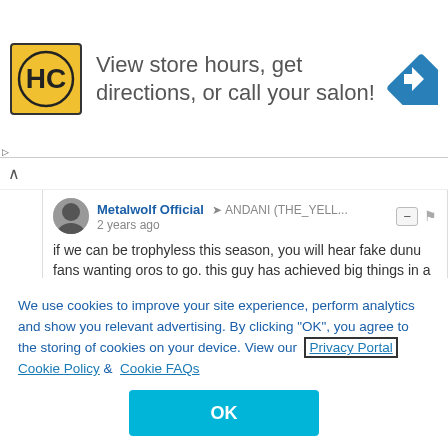[Figure (other): Advertisement banner with HC logo and navigation icon. Text: 'View store hours, get directions, or call your salon!']
if we can be trophyless this season, you will hear fake dunu fans wanting oros to go. this guy has achieved big things in a short space of time. we went from being laughing stocks to being a force to be reckoned with.
We use cookies to improve your site experience, perform analytics and show you relevant advertising. By clicking "OK", you agree to the storing of cookies on your device. View our Privacy Portal Cookie Policy & Cookie FAQs